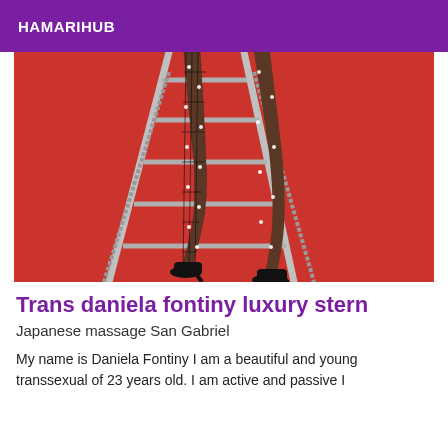HAMARIHUB
[Figure (photo): Legs of a person wearing black fishnet stockings with rhinestone details and black high heels, posing on a metal stepladder against a red background.]
Trans daniela fontiny luxury stern
Japanese massage San Gabriel
My name is Daniela Fontiny I am a beautiful and young transsexual of 23 years old. I am active and passive I